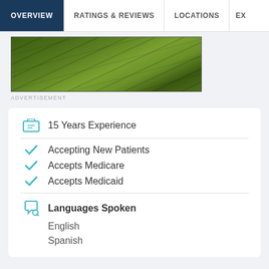OVERVIEW | RATINGS & REVIEWS | LOCATIONS | EX
[Figure (photo): Green grass field aerial view advertisement image]
ADVERTISEMENT
15 Years Experience
Accepting New Patients
Accepts Medicare
Accepts Medicaid
Languages Spoken
English
Spanish